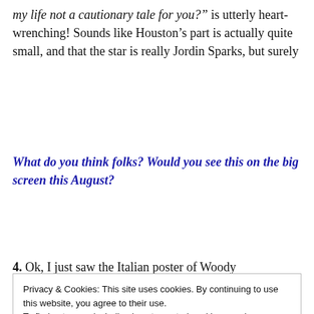“my life not a cautionary tale for you?” is utterly heart-wrenching! Sounds like Houston’s part is actually quite small, and that the star is really Jordin Sparks, but surely
What do you think folks? Would you see this on the big screen this August?
4. Ok, I just saw the Italian poster of Woody
Privacy & Cookies: This site uses cookies. By continuing to use this website, you agree to their use.
To find out more, including how to control cookies, see here: Cookie Policy
Close and accept